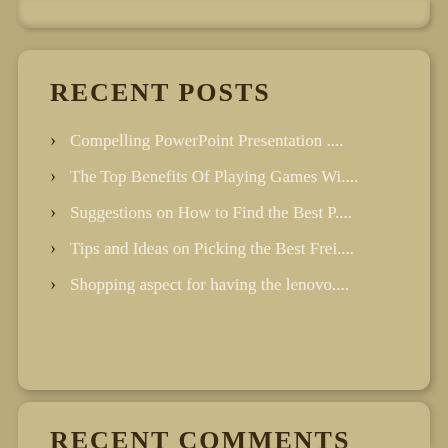RECENT POSTS
Compelling PowerPoint Presentation ....
The Top Benefits Of Playing Games Wi....
Suggestions on How to Find the Best P....
Tips and Ideas on Picking the Best Frei....
Shopping aspect for having the lenovo....
RECENT COMMENTS